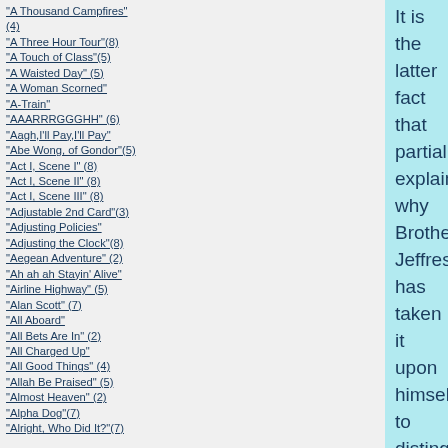"A Thousand Campfires" (4)
"A Three Hour Tour"(8)
"A Touch of Class"(5)
"A Waisted Day" (5)
"A Woman Scorned"
"A-Train"
"AAARRRGGGHH" (6)
"Aagh,I'll Pay,I'll Pay"
"Abe Wong, of Gondor"(5)
"Act I, Scene I" (8)
"Act I, Scene II" (8)
"Act I, Scene III" (8)
"Adjustable 2nd Card"(3)
"Adjusting Policies"
"Adjusting the Clock"(8)
"Aegean Adventure" (2)
"Ah ah ah Stayin' Alive"
"Airline Highway" (5)
"Alan Scott" (7)
"All Aboard"
"All Bets Are In" (2)
"All Charged Up"
"All Good Things" (4)
"Allah Be Praised" (5)
"Almost Heaven" (2)
"Alpha Dog"(7)
"Alright, Who Did It?"(7)
It is the latter fact that partially explains why Brother Jeffress has taken it upon himself to distinguish the faith exhibited by Mitt Romney as that of a "cult."  Brother Jeffress, who identifies himself as "evangelical," would probably subscribe to the same credo as those who marched as soldiers going to war with the phrase "Gott mit uns."  The unanswered question to be asked would be if he were clad in either black or brown?
Frodo has known a number of people who happened to be Mormons.  Generally, he found them to be hard-working, devout, family-oriented, in